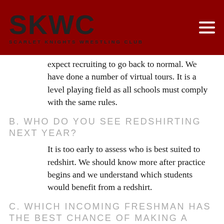SKWC — SCARLET KNIGHTS WRESTLING CLUB
expect recruiting to go back to normal. We have done a number of virtual tours. It is a level playing field as all schools must comply with the same rules.
b. Who do you see redshirting next year?
It is too early to assess who is best suited to redshirt. We should know more after practice begins and we understand which students would benefit from a redshirt.
c. Which incoming freshman has the best chance of making a splash next year?
John Poznanski and Connor O'Neil are ranked